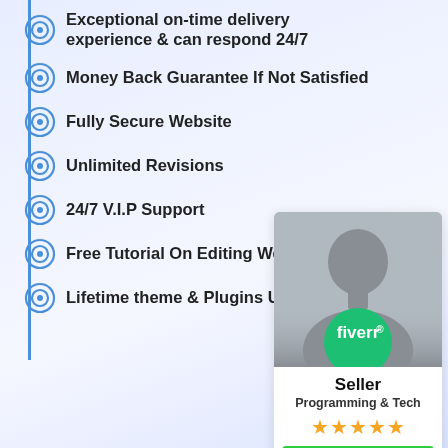Exceptional on-time delivery experience & can respond 24/7
Money Back Guarantee If Not Satisfied
Fully Secure Website
Unlimited Revisions
24/7 V.I.P Support
Free Tutorial On Editing Web
Lifetime theme & Plugins Update
[Figure (infographic): Fiverr seller profile card with avatar silhouette, Fiverr green circle logo, seller name, Programming & Tech category, 5 gold stars, and a green Check out my Gigs button]